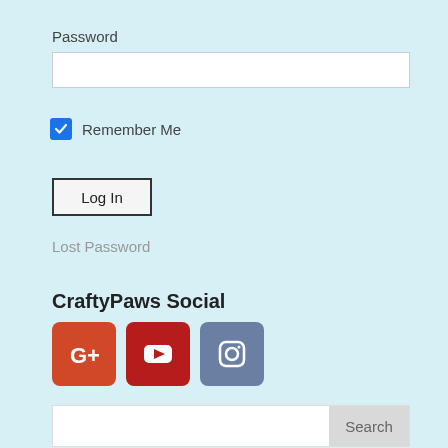Password
[Figure (screenshot): Password input text field (empty, white background with border)]
Remember Me
Log In
Lost Password
CraftyPaws Social
[Figure (logo): Three social media icons: Google+, YouTube, Instagram]
[Figure (screenshot): Search input bar with Search button]
Disclosure